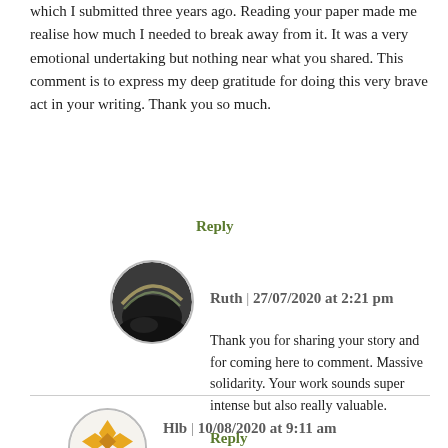which I submitted three years ago. Reading your paper made me realise how much I needed to break away from it. It was a very emotional undertaking but nothing near what you shared. This comment is to express my deep gratitude for doing this very brave act in your writing. Thank you so much.
Reply
[Figure (photo): Circular avatar photo showing a rainbow-like arc against a dark background, with a light olive/grey border.]
Ruth | 27/07/2020 at 2:21 pm
Thank you for sharing your story and for coming here to comment. Massive solidarity. Your work sounds super intense but also really valuable.
Reply
[Figure (logo): Circular avatar icon with a yellow/orange diamond pattern (four diamonds arranged around a center), on a white background with a light border.]
Hlb | 10/08/2020 at 9:11 am